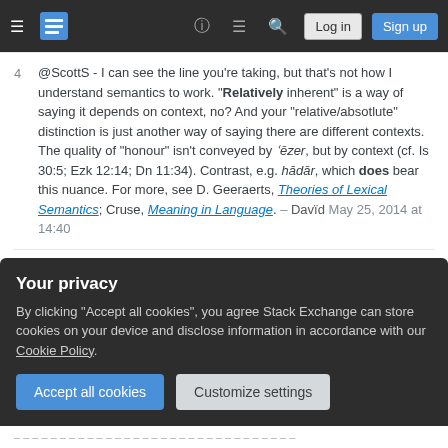Stack Exchange navigation bar with hamburger menu, logo, help, chat, search, Log in, Sign up buttons
4  @ScottS - I can see the line you're taking, but that's not how I understand semantics to work. "Relatively inherent" is a way of saying it depends on context, no? And your "relative/absotlute" distinction is just another way of saying there are different contexts. The quality of "honour" isn't conveyed by ʿēzer, but by context (cf. Is 30:5; Ezk 12:14; Dn 11:34). Contrast, e.g. hādār, which does bear this nuance. For more, see D. Geeraerts, Theories of Lexical Semantics; Cruse, Meaning in Language. – Davïd May 25, 2014 at 14:40
1  @Ruminator what I'm saying is that by merely labeling someone as a helper, a person is by default/definition
Your privacy — By clicking "Accept all cookies", you agree Stack Exchange can store cookies on your device and disclose information in accordance with our Cookie Policy.
Accept all cookies   Customize settings